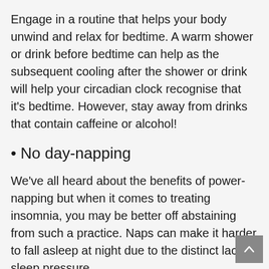Engage in a routine that helps your body unwind and relax for bedtime. A warm shower or drink before bedtime can help as the subsequent cooling after the shower or drink will help your circadian clock recognise that it's bedtime. However, stay away from drinks that contain caffeine or alcohol!
• No day-napping
We've all heard about the benefits of power-napping but when it comes to treating insomnia, you may be better off abstaining from such a practice. Naps can make it harder to fall asleep at night due to the distinct lack of sleep pressure.
• Keep the bedroom clock-free